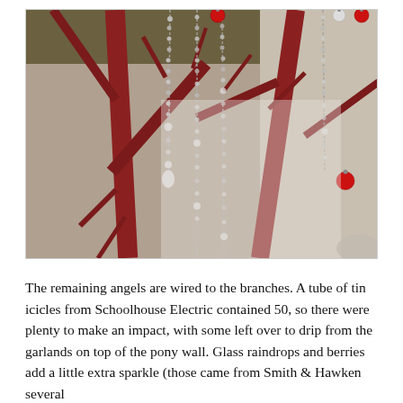[Figure (photo): Close-up photo of red/maroon bare branches decorated with silver beaded icicle chains and small red and silver ornament balls hanging from the branches, against a light background.]
The remaining angels are wired to the branches. A tube of tin icicles from Schoolhouse Electric contained 50, so there were plenty to make an impact, with some left over to drip from the garlands on top of the pony wall. Glass raindrops and berries add a little extra sparkle (those came from Smith & Hawken several